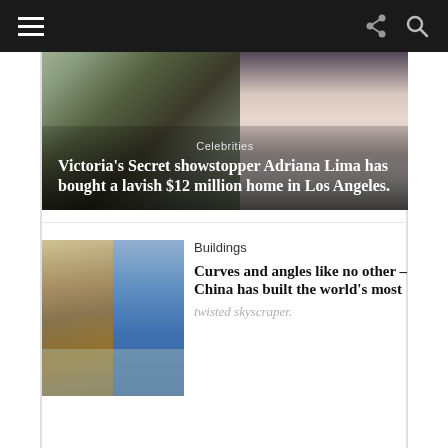Navigation bar with hamburger menu, share icon, and search icon
[Figure (photo): Composite image showing a white Mediterranean-style house with trees on the left and a glamorous dark-haired woman in a white low-cut outfit on the right, with text overlay reading 'Celebrities' and the headline about Adriana Lima's $12 million home in Los Angeles]
[Figure (photo): Photograph of a modern twisted glass skyscraper in China against a blue sky, with other buildings visible]
Buildings
Curves and angles like no other – China has built the world's most twisted skyscraper.